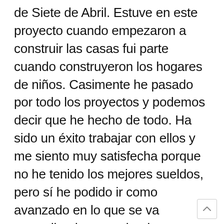de Siete de Abril. Estuve en este proyecto cuando empezaron a construir las casas fui parte cuando construyeron los hogares de niños. Casimente he pasado por todo los proyectos y podemos decir que he hecho de todo. Ha sido un éxito trabajar con ellos y me siento muy satisfecha porque no he tenido los mejores sueldos, pero sí he podido ir como avanzado en lo que se va aprendiendo, conociendo personas de todo el mundo, conozco personas de Estados Unidos muchas personas de Europa, de Japon... entonces, para mí, eso ha sido un buen éxito aunque a veces amigas me dicen por qué no te vas a trabajar a Estados Unidos o Europa para que tengas tu dinero, tu carro, pero este es un trabajo que me gusta.